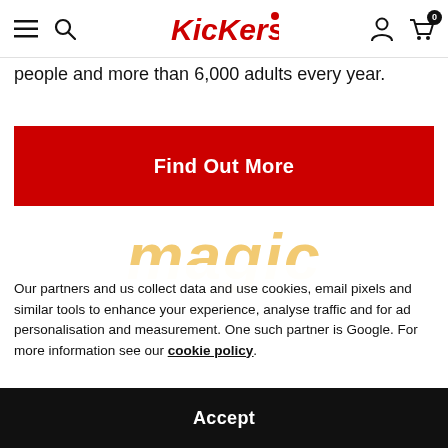Kickers navigation bar with menu, search, account and cart icons
people and more than 6,000 adults every year.
[Figure (other): Red 'Find Out More' call-to-action button]
[Figure (other): Partially visible orange italic 'magic' watermark/logo text in background]
Our partners and us collect data and use cookies, email pixels and similar tools to enhance your experience, analyse traffic and for ad personalisation and measurement. One such partner is Google. For more information see our cookie policy.
[Figure (other): Black 'Accept' cookie consent button]